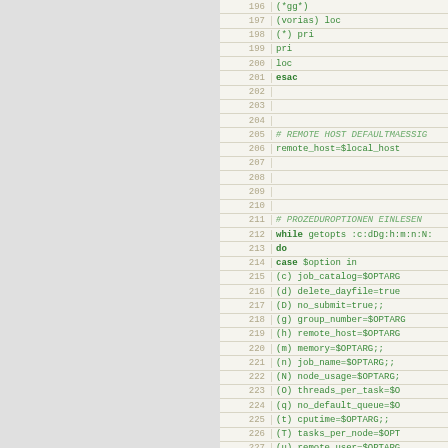[Figure (screenshot): Source code listing showing shell script lines 196-228, with line numbers on left and green monospace code on beige background. Code shows a case statement, remote host default setting, and getopts loop with option handling.]